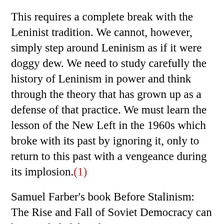This requires a complete break with the Leninist tradition. We cannot, however, simply step around Leninism as if it were doggy dew. We need to study carefully the history of Leninism in power and think through the theory that has grown up as a defense of that practice. We must learn the lesson of the New Left in the 1960s which broke with its past by ignoring it, only to return to this past with a vengeance during its implosion.(1)
Samuel Farber's book Before Stalinism: The Rise and Fall of Soviet Democracy can be very helpful in this process. It represents an honest summary of the large body of material now available on democracy in Lenin's Soviet Union.
The book represents a thorough and devastating condemnation of Leninism in power. Curiously, however, Farber makes no systematic assessment of Leninism as a body of theory. He presents the facts...